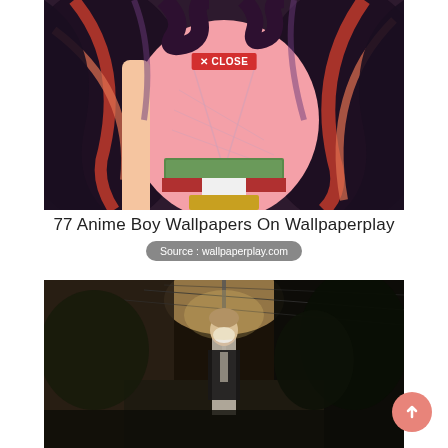[Figure (illustration): Anime illustration of a character with long dark purple/black hair in a kimono-style outfit with green and red accents, viewed from above. A red 'X CLOSE' button overlay is visible on the image.]
77 Anime Boy Wallpapers On Wallpaperplay
Source : wallpaperplay.com
[Figure (photo): Dark photo of an anime-style boy wearing a white mask standing in a narrow alleyway or street. The scene has a moody, sepia-toned atmosphere with dim lighting and power lines visible overhead.]